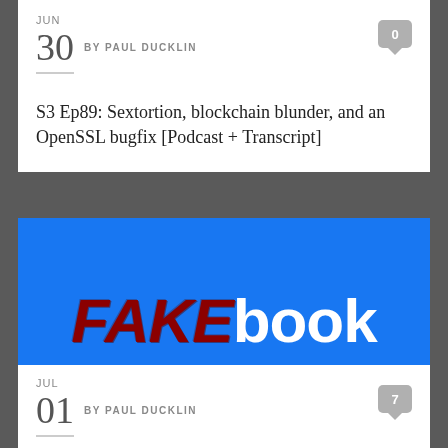JUN
30 BY PAUL DUCKLIN
S3 Ep89: Sextortion, blockchain blunder, and an OpenSSL bugfix [Podcast + Transcript]
[Figure (illustration): Blue Facebook-style banner with 'FAKEbook' text, where FAKE is in dark red distressed style and 'book' is in white bold font, with a white upward chevron at the bottom]
JUL
01 BY PAUL DUCKLIN